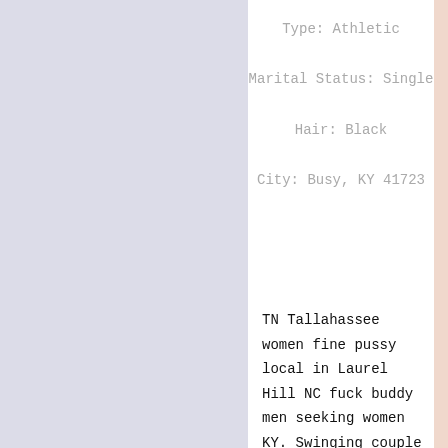Type: Athletic
Marital Status: Single
Hair: Black
City: Busy, KY 41723
TN Tallahassee women fine pussy local in Laurel Hill NC fuck buddy men seeking women KY. Swinging couple camps Smethport PA area, McGee girls showing boiing...